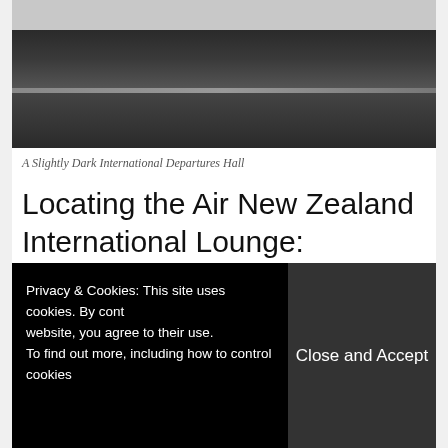[Figure (photo): A slightly dark international departures hall with passengers, luggage, and check-in counters]
A Slightly Dark International Departures Hall
Locating the Air New Zealand International Lounge:
Privacy & Cookies: This site uses cookies. By continuing to use this website, you agree to their use.
To find out more, including how to control cookies, Close and Accept